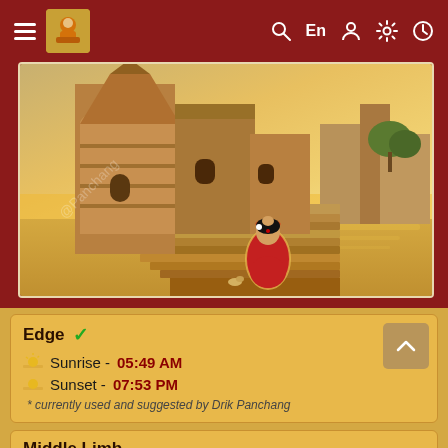≡  [logo]  Q  En  👤  ⚙  🕐
[Figure (illustration): Illustration of a woman in a red saree praying at ghats (river steps) beside ancient temple buildings, with a sunset over a calm river in the background. Watermark text 'Panchang' visible. Drik Panchang app screenshot.]
Edge ✓
Sunrise - 05:49 AM
Sunset - 07:53 PM
* currently used and suggested by Drik Panchang
Middle Limb